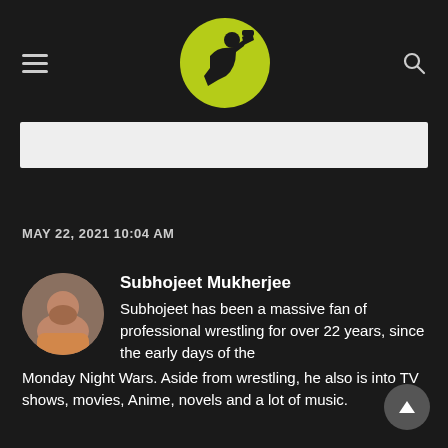[Header with hamburger menu, logo, and search icon]
[Figure (other): White banner/ad area below header]
MAY 22, 2021 10:04 AM
[Figure (photo): Circular avatar photo of Subhojeet Mukherjee]
Subhojeet Mukherjee
Subhojeet has been a massive fan of professional wrestling for over 22 years, since the early days of the Monday Night Wars. Aside from wrestling, he also is into TV shows, movies, Anime, novels and a lot of music.